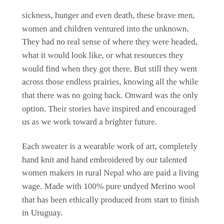sickness, hunger and even death, these brave men, women and children ventured into the unknown. They had no real sense of where they were headed, what it would look like, or what resources they would find when they got there. But still they went across those endless prairies, knowing all the while that there was no going back. Onward was the only option. Their stories have inspired and encouraged us as we work toward a brighter future.
Each sweater is a wearable work of art, completely hand knit and hand embroidered by our talented women makers in rural Nepal who are paid a living wage. Made with 100% pure undyed Merino wool that has been ethically produced from start to finish in Uruguay.